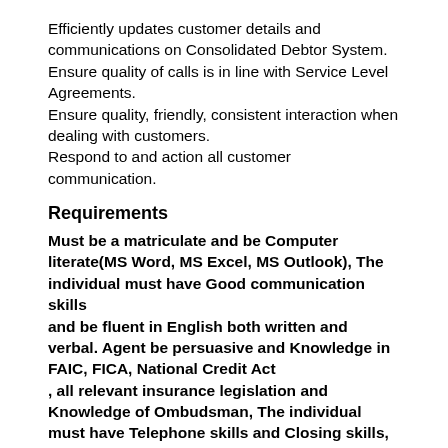Efficiently updates customer details and communications on Consolidated Debtor System.
Ensure quality of calls is in line with Service Level Agreements.
Ensure quality, friendly, consistent interaction when dealing with customers.
Respond to and action all customer communication.
Requirements
Must be a matriculate and be Computer literate(MS Word, MS Excel, MS Outlook), The individual must have Good communication skills and be fluent in English both written and verbal. Agent be persuasive and Knowledge in FAIC, FICA, National Credit Act , all relevant insurance legislation and Knowledge of Ombudsman, The individual must have Telephone skills and Closing skills, and Full FAIS accreditation and valid RE5